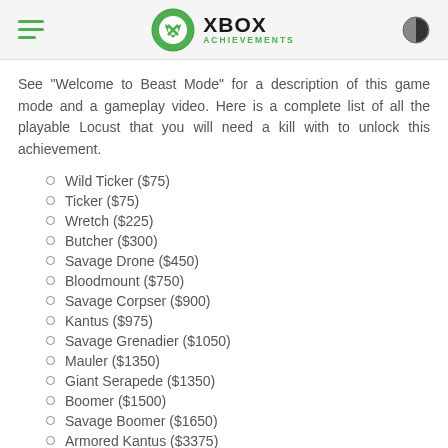XBOX ACHIEVEMENTS
See "Welcome to Beast Mode" for a description of this game mode and a gameplay video. Here is a complete list of all the playable Locust that you will need a kill with to unlock this achievement.
Wild Ticker ($75)
Ticker ($75)
Wretch ($225)
Butcher ($300)
Savage Drone ($450)
Bloodmount ($750)
Savage Corpser ($900)
Kantus ($975)
Savage Grenadier ($1050)
Mauler ($1350)
Giant Serapede ($1350)
Boomer ($1500)
Savage Boomer ($1650)
Armored Kantus ($3375)